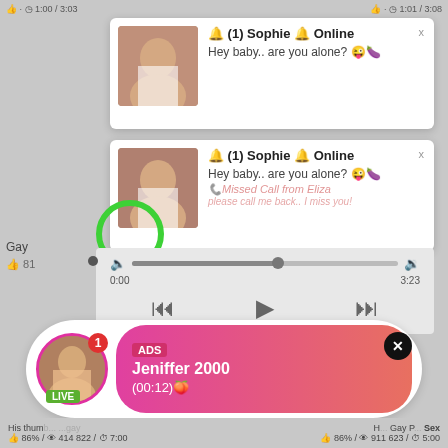[Figure (screenshot): Browser notification popup 1: Sophie Online - Hey baby.. are you alone?]
[Figure (screenshot): Browser notification popup 2: Sophie Online - Hey baby.. are you alone? with missed call overlay from Eliza]
[Figure (screenshot): Audio media player with seek bar, time 0:00 to 3:23, playback controls]
Gay
👍 81
[Figure (screenshot): Ad banner: LIVE avatar with notification badge '1', ADS label, Jeniffer 2000, (00:12), close button X]